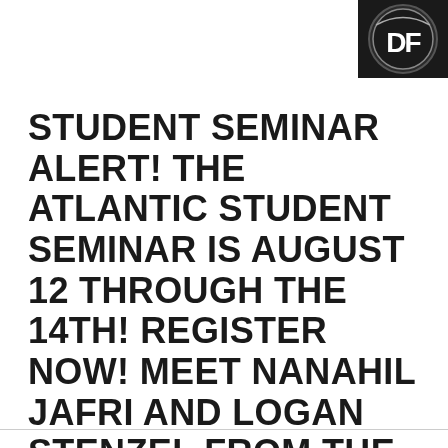[Figure (logo): Circular logo with letters 'DF' or similar monogram on dark background, top-right corner]
STUDENT SEMINAR ALERT! THE ATLANTIC STUDENT SEMINAR IS AUGUST 12 THROUGH THE 14TH! REGISTER NOW! MEET NANAHIL JAFRI AND LOGAN STENZEL FROM THE NATIONAL ASSOCIATION OF BLIND STUDENTS (NABS).